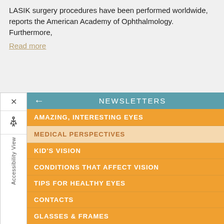LASIK surgery procedures have been performed worldwide, reports the American Academy of Ophthalmology. Furthermore,
Read more
[Figure (screenshot): Accessibility View sidebar with close X button, wheelchair icon, and vertical 'Accessibility View' label text]
NEWSLETTERS
AMAZING, INTERESTING EYES
MEDICAL PERSPECTIVES
KID'S VISION
CONDITIONS THAT AFFECT VISION
TIPS FOR HEALTHY EYES
CONTACTS
GLASSES & FRAMES